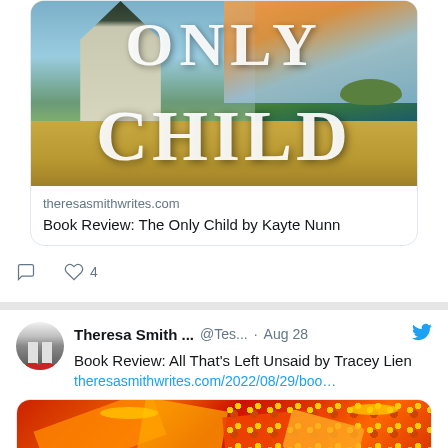[Figure (photo): Book cover of 'Only Child' by Kayte Nunn showing a Victorian house with scenic countryside and sea in background, with large white text reading ONLY CHILD]
theresasmithwrites.com
Book Review: The Only Child by Kayte Nunn
♡  4
Theresa Smith ...  @Tes...  · Aug 28
Book Review: All That's Left Unsaid by Tracey Lien
theresasmithwrites.com/2022/08/29/boo…
[Figure (photo): Partial view of a book cover with red and orange decorative patterns and shapes, appears to be for 'All That's Left Unsaid' by Tracey Lien]